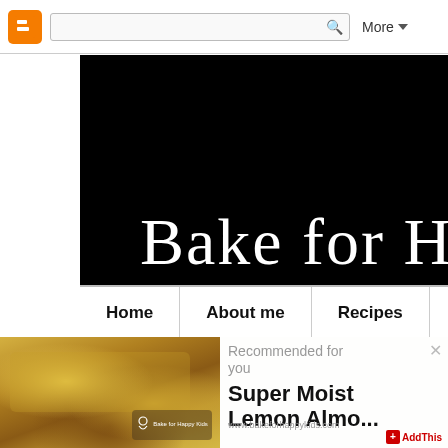[Figure (screenshot): Blogger top navigation bar with orange Blogger icon, search box with magnifying glass, and More dropdown button]
[Figure (screenshot): Black blog header banner with white decorative text reading 'Bake for Happy K' (truncated)]
Home | About me | Recipes
[Figure (photo): Close-up food photo of moist lemon almond cake with crumbly topping on a plate, with Bake for Happy Kids watermark]
Recommended for you
Super Moist Lemon Almo...
www.bakeforhappykids.com
AddThis